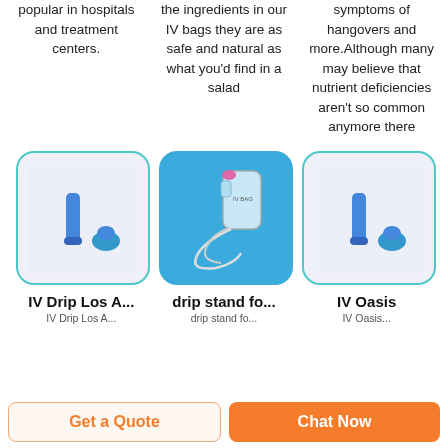popular in hospitals and treatment centers.
the ingredients in our IV bags they are as safe and natural as what you’d find in a salad
symptoms of hangovers and more.Although many may believe that nutrient deficiencies aren’t so common anymore there
[Figure (photo): IV drip components on light background - a blue syringe cap and a blue tube cap]
[Figure (photo): IV drip stand with bag and tubing on blue background]
[Figure (photo): IV Oasis components on light background - a blue syringe cap and a blue tube cap]
IV Drip Los A...
drip stand fo...
IV Oasis
Get a Quote
Chat Now